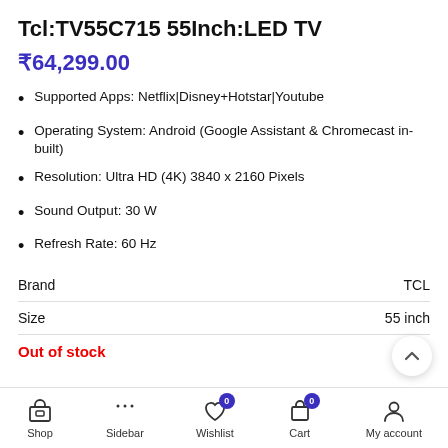Tcl:TV55C715 55Inch:LED TV
₹64,299.00
Supported Apps: Netflix|Disney+Hotstar|Youtube
Operating System: Android (Google Assistant & Chromecast in-built)
Resolution: Ultra HD (4K) 3840 x 2160 Pixels
Sound Output: 30 W
Refresh Rate: 60 Hz
|  |  |
| --- | --- |
| Brand | TCL |
| Size | 55 inch |
Out of stock
Shop | Sidebar | Wishlist 0 | Cart 0 | My account